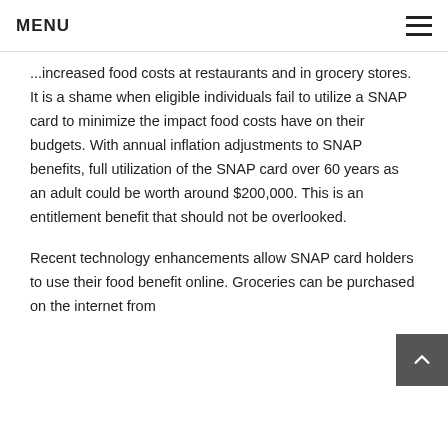MENU
...increased food costs at restaurants and in grocery stores. It is a shame when eligible individuals fail to utilize a SNAP card to minimize the impact food costs have on their budgets. With annual inflation adjustments to SNAP benefits, full utilization of the SNAP card over 60 years as an adult could be worth around $200,000. This is an entitlement benefit that should not be overlooked.
Recent technology enhancements allow SNAP card holders to use their food benefit online. Groceries can be purchased on the internet from